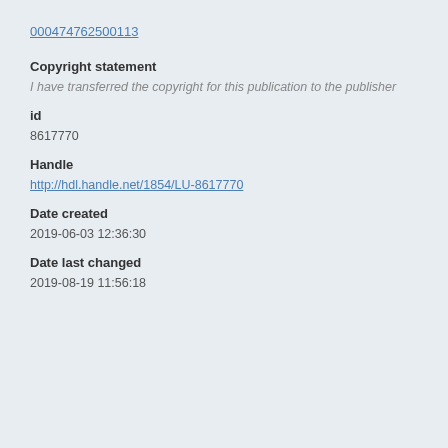000474762500113
Copyright statement
I have transferred the copyright for this publication to the publisher
id
8617770
Handle
http://hdl.handle.net/1854/LU-8617770
Date created
2019-06-03 12:36:30
Date last changed
2019-08-19 11:56:18